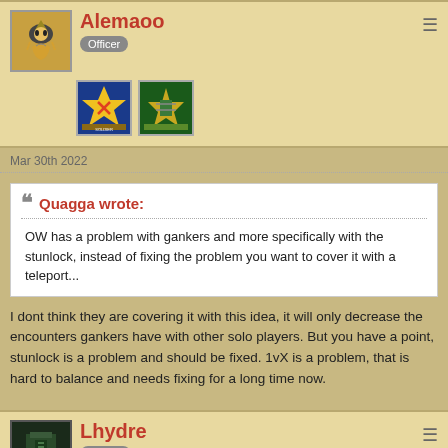Alemaoo
Officer
Mar 30th 2022
Quagga wrote: OW has a problem with gankers and more specifically with the stunlock, instead of fixing the problem you want to cover it with a teleport...
I dont think they are covering it with this idea, it will only decrease the encounters gankers have with other solo players. But you have a point, stunlock is a problem and should be fixed. 1vX is a problem, that is hard to balance and needs fixing for a long time now.
Lhydre
Recruit
Mar 31st 2022